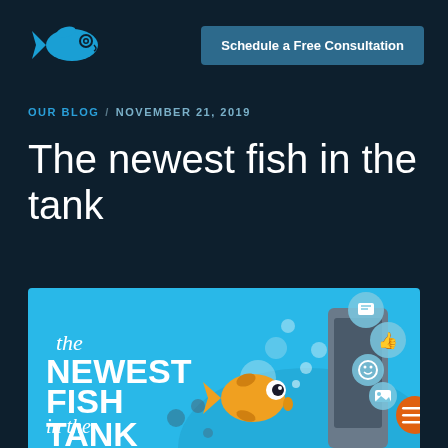[Figure (logo): Blue stylized fish logo with circular eye and tail fins]
Schedule a Free Consultation
OUR BLOG / NOVEMBER 21, 2019
The newest fish in the tank
[Figure (illustration): Infographic illustration with light blue underwater background showing a cartoon goldfish, a smartphone device, and social media icon bubbles (chat, thumbs up, smiley, image) floating up. Text overlay reads: the NEWEST FISH in the TANK]